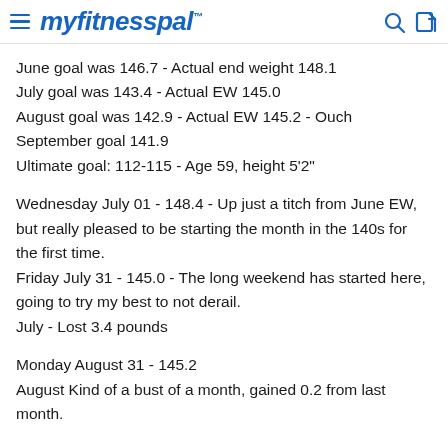myfitnesspal
June goal was 146.7 - Actual end weight 148.1
July goal was 143.4 - Actual EW 145.0
August goal was 142.9 - Actual EW 145.2 - Ouch
September goal 141.9
Ultimate goal: 112-115 - Age 59, height 5'2"
Wednesday July 01 - 148.4 - Up just a titch from June EW, but really pleased to be starting the month in the 140s for the first time.
Friday July 31 - 145.0 - The long weekend has started here, going to try my best to not derail.
July - Lost 3.4 pounds
Monday August 31 - 145.2
August Kind of a bust of a month, gained 0.2 from last month.